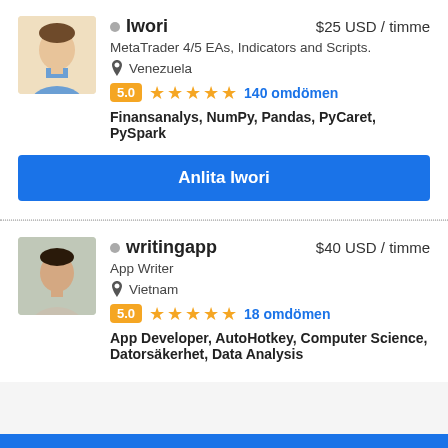[Figure (photo): Profile photo of Iwori, a man in a blue shirt on a light background]
Iwori  $25 USD / timme
MetaTrader 4/5 EAs, Indicators and Scripts.
Venezuela
5.0  ★★★★★  140 omdömen
Finansanalys, NumPy, Pandas, PyCaret, PySpark
Anlita Iwori
[Figure (photo): Profile photo of writingapp, a person on a light background]
writingapp  $40 USD / timme
App Writer
Vietnam
5.0  ★★★★★  18 omdömen
App Developer, AutoHotkey, Computer Science, Datorsäkerhet, Data Analysis